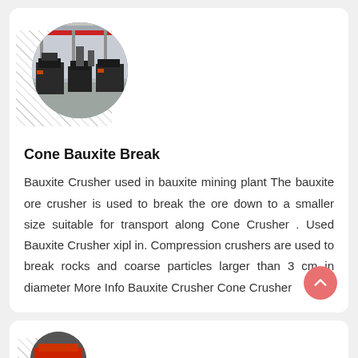[Figure (photo): Circular cropped photo of an industrial manufacturing/crushing plant interior with heavy machinery, conveyor equipment, and a red overhead crane. Diagonal hatched pattern background behind the circle.]
Cone Bauxite Break
Bauxite Crusher used in bauxite mining plant The bauxite ore crusher is used to break the ore down to a smaller size suitable for transport along Cone Crusher . Used Bauxite Crusher xipl in. Compression crushers are used to break rocks and coarse particles larger than 3 cm in diameter More Info Bauxite Crusher Cone Crusher
[Figure (photo): Partially visible circular cropped photo at the bottom of the page, showing red and black industrial equipment. Diagonal hatched pattern background.]